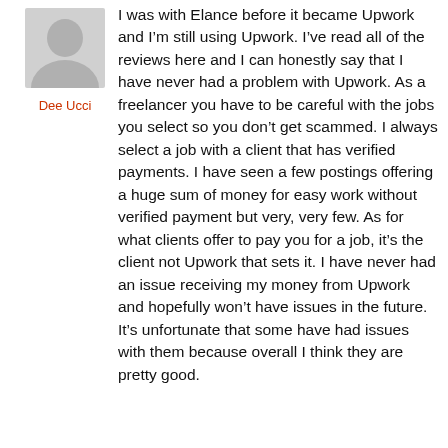[Figure (illustration): Grey placeholder avatar icon showing a silhouette of a person (head and shoulders)]
Dee Ucci
I was with Elance before it became Upwork and I'm still using Upwork. I've read all of the reviews here and I can honestly say that I have never had a problem with Upwork. As a freelancer you have to be careful with the jobs you select so you don't get scammed. I always select a job with a client that has verified payments. I have seen a few postings offering a huge sum of money for easy work without verified payment but very, very few. As for what clients offer to pay you for a job, it's the client not Upwork that sets it. I have never had an issue receiving my money from Upwork and hopefully won't have issues in the future. It's unfortunate that some have had issues with them because overall I think they are pretty good.